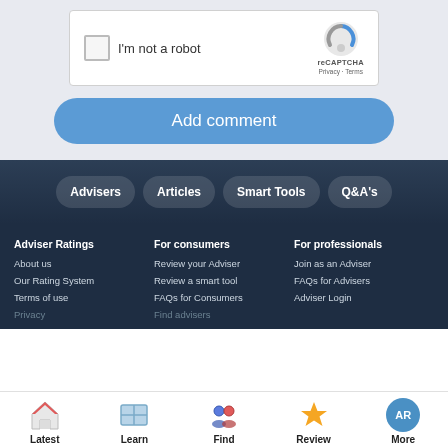[Figure (screenshot): reCAPTCHA widget with checkbox 'I'm not a robot' and reCAPTCHA logo with Privacy and Terms links]
Add comment
Advisers
Articles
Smart Tools
Q&A's
Adviser Ratings
About us
Our Rating System
Terms of use
Privacy
For consumers
Review your Adviser
Review a smart tool
FAQs for Consumers
Find advisers
For professionals
Join as an Adviser
FAQs for Advisers
Adviser Login
Latest  Learn  Find  Review  More